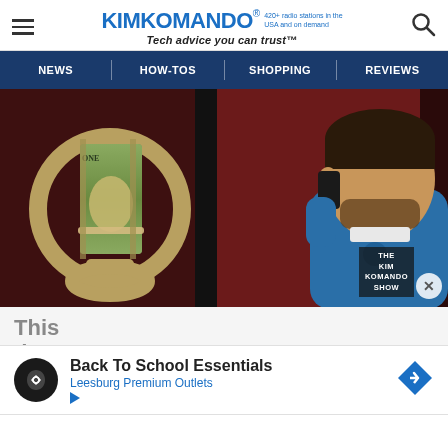KIMKOMANDO® 420+ radio stations in the USA and on demand | Tech advice you can trust™
[Figure (screenshot): Navigation bar with menu items: NEWS, HOW-TOS, SHOPPING, REVIEWS on dark blue background]
[Figure (photo): Hero image showing handcuffs with rolled $100 bills on the left, and a man in a blue sweater talking on a phone on the right, with The Kim Komando Show watermark]
This don' Phone tario...
[Figure (infographic): Advertisement banner: Back To School Essentials - Leesburg Premium Outlets, with circular logo icon and blue diamond arrow]